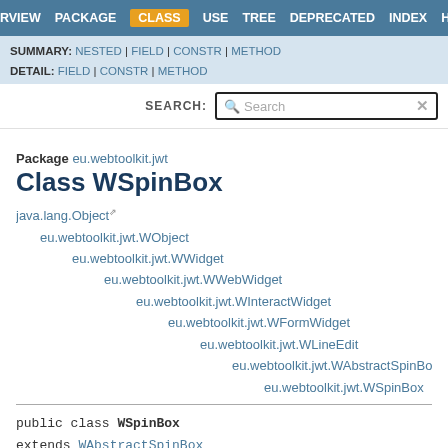OVERVIEW | PACKAGE | CLASS | USE | TREE | DEPRECATED | INDEX | HELP
SUMMARY: NESTED | FIELD | CONSTR | METHOD
DETAIL: FIELD | CONSTR | METHOD
SEARCH: Search
Package eu.webtoolkit.jwt
Class WSpinBox
java.lang.Object
    eu.webtoolkit.jwt.WObject
        eu.webtoolkit.jwt.WWidget
            eu.webtoolkit.jwt.WWebWidget
                eu.webtoolkit.jwt.WInteractWidget
                    eu.webtoolkit.jwt.WFormWidget
                        eu.webtoolkit.jwt.WLineEdit
                            eu.webtoolkit.jwt.WAbstractSpinBox
                                eu.webtoolkit.jwt.WSpinBox
public class WSpinBox
extends WAbstractSpinBox
An input control for integer numbers.
The spin box provides a control for entering an integer